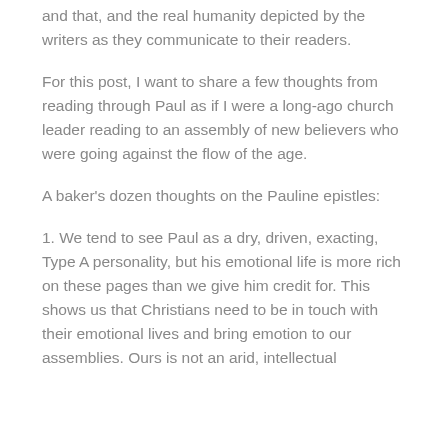and that, and the real humanity depicted by the writers as they communicate to their readers.
For this post, I want to share a few thoughts from reading through Paul as if I were a long-ago church leader reading to an assembly of new believers who were going against the flow of the age.
A baker's dozen thoughts on the Pauline epistles:
1. We tend to see Paul as a dry, driven, exacting, Type A personality, but his emotional life is more rich on these pages than we give him credit for. This shows us that Christians need to be in touch with their emotional lives and bring emotion to our assemblies. Ours is not an arid, intellectual